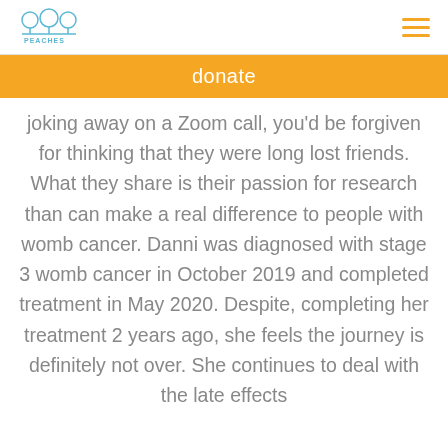PEACHES
donate
joking away on a Zoom call, you'd be forgiven for thinking that they were long lost friends. What they share is their passion for research than can make a real difference to people with womb cancer. Danni was diagnosed with stage 3 womb cancer in October 2019 and completed treatment in May 2020. Despite, completing her treatment 2 years ago, she feels the journey is definitely not over. She continues to deal with the late effects